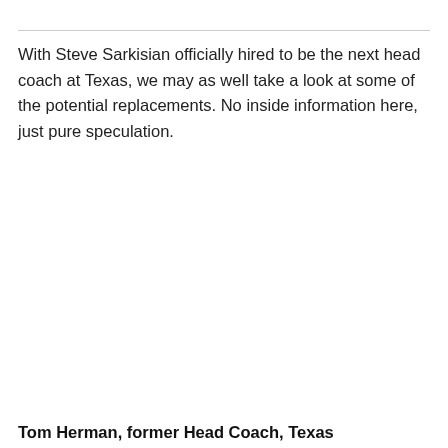With Steve Sarkisian officially hired to be the next head coach at Texas, we may as well take a look at some of the potential replacements. No inside information here, just pure speculation.
Tom Herman, former Head Coach, Texas